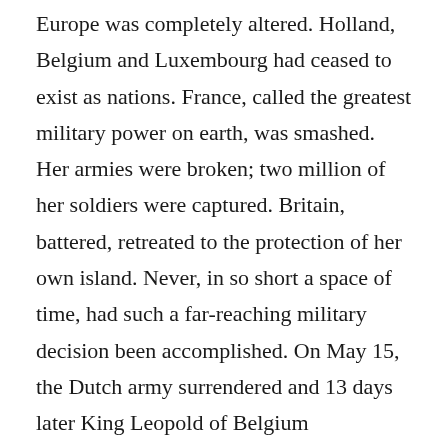Europe was completely altered. Holland, Belgium and Luxembourg had ceased to exist as nations. France, called the greatest military power on earth, was smashed. Her armies were broken; two million of her soldiers were captured. Britain, battered, retreated to the protection of her own island. Never, in so short a space of time, had such a far-reaching military decision been accomplished. On May 15, the Dutch army surrendered and 13 days later King Leopold of Belgium surrendered his entire army to the Germans. Now the way was open to attack France, not by bridging the Maginot Line but through Belgium. Hitler's armies were successful beyond belief.